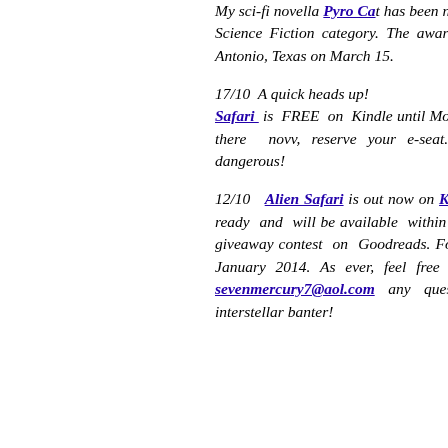My sci-fi novella Pyro Cat has been named as a finalist in the 2014 Best Science Fiction category. The awards ceremony will be held in San Antonio, Texas on March 15.

17/10  A quick heads up! Alien Safari is FREE on Kindle until Monday 21st October, head on over there now to reserve your e-seat...before the wildlife gets *too* dangerous!

12/10  Alien Safari is out now on Kindle! The print version is almost ready and will be available within the next few weeks--look for a giveaway contest on Goodreads. For other e-book formats, look for January 2014. As ever, feel free to email me at sevenmercury7@aol.com for any questions, feedback, or plain old interstellar banter!